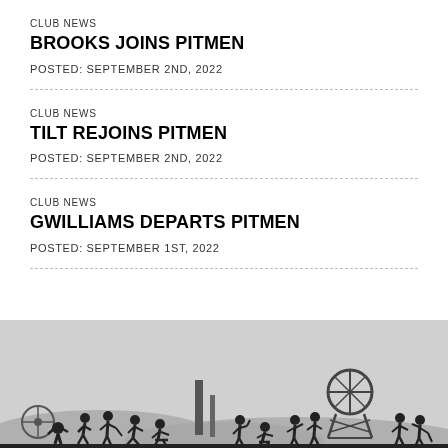CLUB NEWS
BROOKS JOINS PITMEN
POSTED: SEPTEMBER 2ND, 2022
CLUB NEWS
TILT REJOINS PITMEN
POSTED: SEPTEMBER 2ND, 2022
CLUB NEWS
GWILLIAMS DEPARTS PITMEN
POSTED: SEPTEMBER 1ST, 2022
[Figure (illustration): Silhouette of miners and mining equipment against a grey background forming a panoramic scene at the bottom of the page.]